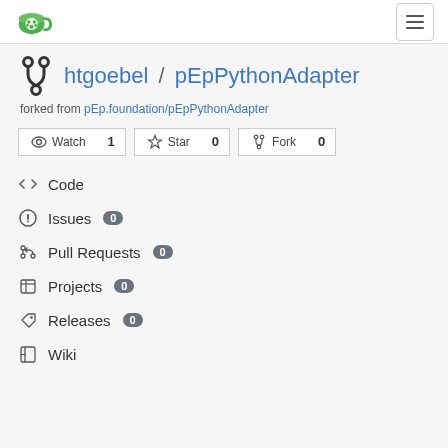Gitea logo and hamburger menu
htgoebel / pEpPythonAdapter
forked from pEp.foundation/pEpPythonAdapter
Watch 1  Star 0  Fork 0
Code
Issues 0
Pull Requests 0
Projects 0
Releases 0
Wiki